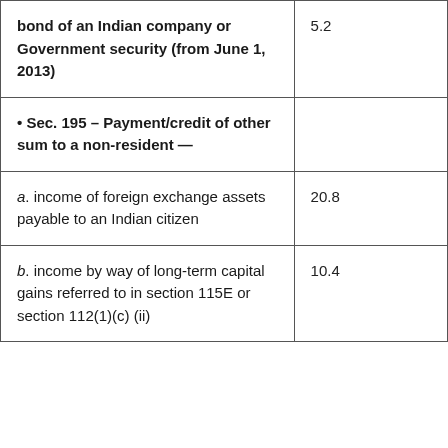| Description | Rate |
| --- | --- |
| bond of an Indian company or Government security (from June 1, 2013) | 5.2 |
| • Sec. 195 – Payment/credit of other sum to a non-resident — |  |
| a. income of foreign exchange assets payable to an Indian citizen | 20.8 |
| b. income by way of long-term capital gains referred to in section 115E or section 112(1)(c) (ii) | 10.4 |